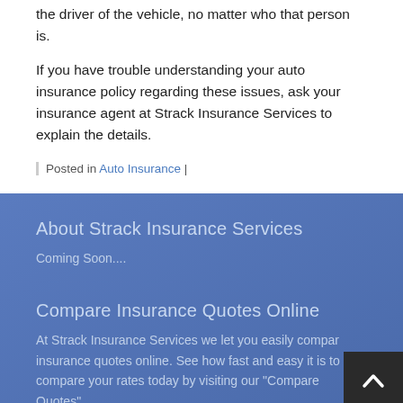the driver of the vehicle, no matter who that person is.
If you have trouble understanding your auto insurance policy regarding these issues, ask your insurance agent at Strack Insurance Services to explain the details.
Posted in Auto Insurance |
About Strack Insurance Services
Coming Soon....
Compare Insurance Quotes Online
At Strack Insurance Services we let you easily compare insurance quotes online. See how fast and easy it is to compare your rates today by visiting our "Compare Quotes"